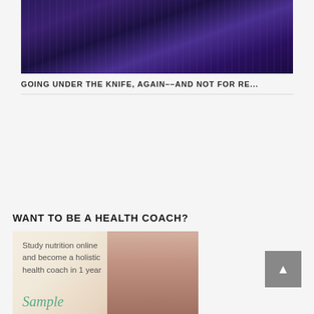[Figure (photo): Dark purple/blue abstract photo, appears to be a close-up with blurred textures in deep blue and purple tones]
GOING UNDER THE KNIFE, AGAIN––AND NOT FOR RE...
WANT TO BE A HEALTH COACH?
[Figure (photo): Advertisement image showing a young woman studying with text 'Study nutrition online and become a holistic health coach in 1 year' and 'Sample' in green text]